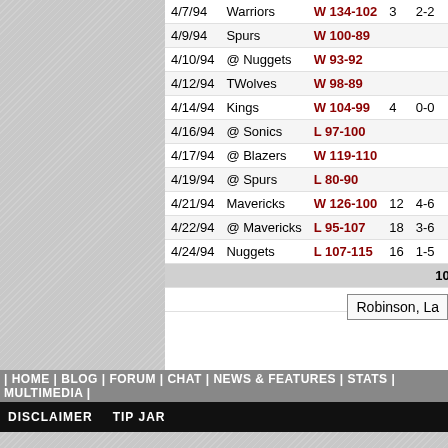| Date | Opponent | Result |  |  |
| --- | --- | --- | --- | --- |
| 4/7/94 | Warriors | W 134-102 | 3 | 2-2 |
| 4/9/94 | Spurs | W 100-89 |  |  |
| 4/10/94 | @ Nuggets | W 93-92 |  |  |
| 4/12/94 | TWolves | W 98-89 |  |  |
| 4/14/94 | Kings | W 104-99 | 4 | 0-0 |
| 4/16/94 | @ Sonics | L 97-100 |  |  |
| 4/17/94 | @ Blazers | W 119-110 |  |  |
| 4/19/94 | @ Spurs | L 80-90 |  |  |
| 4/21/94 | Mavericks | W 126-100 | 12 | 4-6 |
| 4/22/94 | @ Mavericks | L 95-107 | 18 | 3-6 |
| 4/24/94 | Nuggets | L 107-115 | 16 | 1-5 |
|  |  |  |  | 10-20 |
|  |  |  |  | (50.00%) |
Robinson, La
| HOME | BLOG | FORUM | CHAT | NEWS & FEATURES | STATS | MULTIMEDIA |
DISCLAIMER   TIP JAR